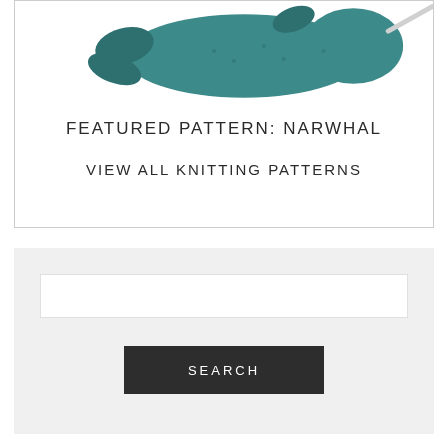[Figure (photo): A teal/blue knitted narwhal toy on a white background, partially visible at the top of the card]
FEATURED PATTERN: NARWHAL
VIEW ALL KNITTING PATTERNS
[Figure (other): Search box UI element with a white input field and a dark gray SEARCH button on a light gray background]